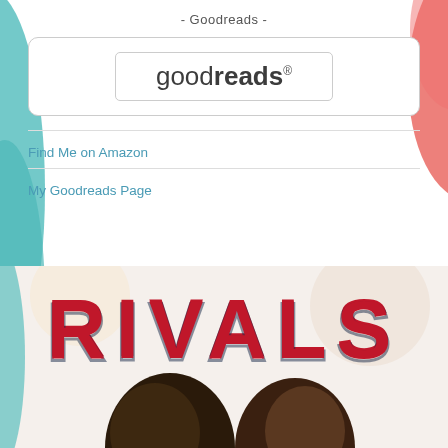- Goodreads -
[Figure (logo): Goodreads logo inside a rounded rectangle box with inner border]
Find Me on Amazon
My Goodreads Page
[Figure (photo): Book cover for 'RIVALS' showing large bold text in red and dark navy, with partial view of people below]